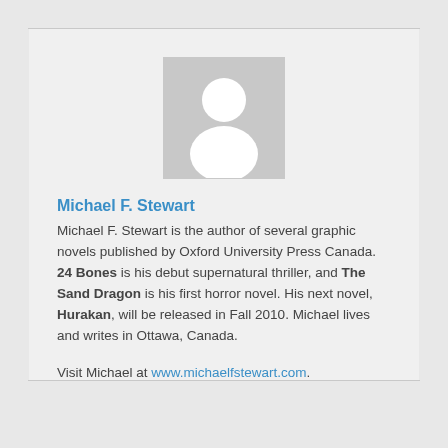[Figure (illustration): Generic user avatar placeholder image — a grey square with a white silhouette of a person (head and shoulders)]
Michael F. Stewart
Michael F. Stewart is the author of several graphic novels published by Oxford University Press Canada. 24 Bones is his debut supernatural thriller, and The Sand Dragon is his first horror novel. His next novel, Hurakan, will be released in Fall 2010. Michael lives and writes in Ottawa, Canada.
Visit Michael at www.michaelfstewart.com.